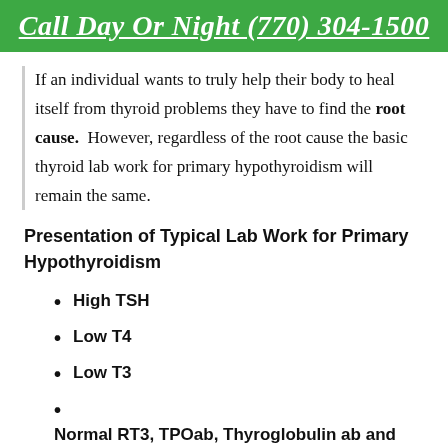Call Day Or Night (770) 304-1500
If an individual wants to truly help their body to heal itself from thyroid problems they have to find the root cause. However, regardless of the root cause the basic thyroid lab work for primary hypothyroidism will remain the same.
Presentation of Typical Lab Work for Primary Hypothyroidism
High TSH
Low T4
Low T3
Normal RT3, TPOab, Thyroglobulin ab and TSI (thyroid stimulating immunoglobulin–more on